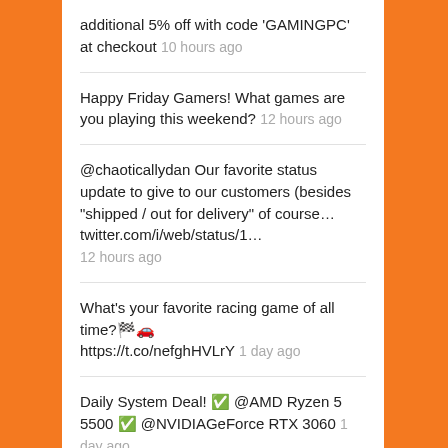additional 5% off with code 'GAMINGPC' at checkout 10 hours ago
Happy Friday Gamers! What games are you playing this weekend? 12 hours ago
@chaoticallydan Our favorite status update to give to our customers (besides "shipped / out for delivery" of course… twitter.com/i/web/status/1… 12 hours ago
What's your favorite racing game of all time?🏁🚗 https://t.co/nefghHVLrY 1 day ago
Daily System Deal! ✅ @AMD Ryzen 5 5500 ✅ @NVIDIAGeForce RTX 3060 1 day ago
Follow @cyberpowerpc